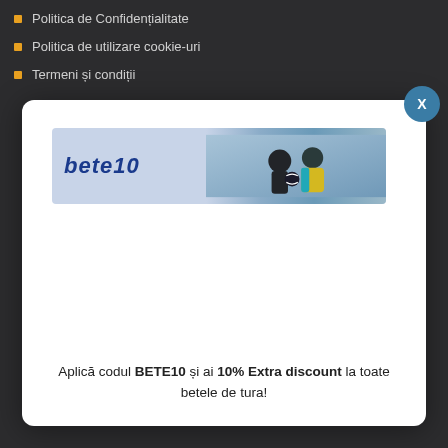Politica de Confidențialitate
Politica de utilizare cookie-uri
Termeni și condiții
[Figure (screenshot): Modal dialog with bete10 banner advertisement showing logo and sports image]
Aplică codul BETE10 și ai 10% Extra discount la toate betele de tura!